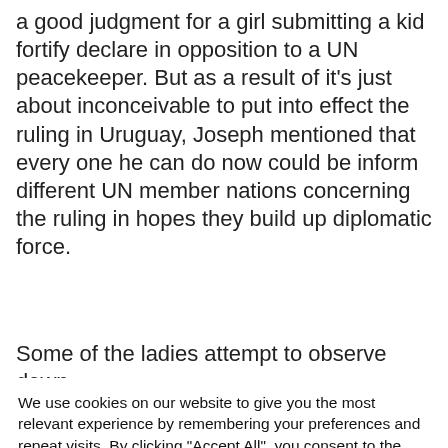a good judgment for a girl submitting a kid fortify declare in opposition to a UN peacekeeper. But as a result of it’s just about inconceivable to put into effect the ruling in Uruguay, Joseph mentioned that every one he can do now could be inform different UN member nations concerning the ruling in hopes they build up diplomatic force.
Some of the ladies attempt to observe down
We use cookies on our website to give you the most relevant experience by remembering your preferences and repeat visits. By clicking “Accept All”, you consent to the use of ALL the cookies. However, you may visit "Cookie Settings" to provide a controlled consent.